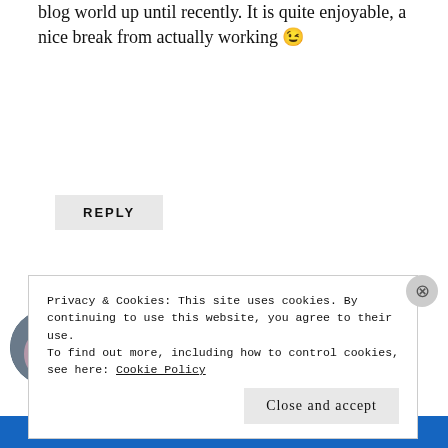blog world up until recently. It is quite enjoyable, a nice break from actually working 😉
REPLY
LADYBLUEROSE'S THOUGHTS INTO WORDS
March 7, 2012 at 11:22 pm
Privacy & Cookies: This site uses cookies. By continuing to use this website, you agree to their use. To find out more, including how to control cookies, see here: Cookie Policy
Close and accept
[Figure (other): Blue Pressable bar at bottom of page]